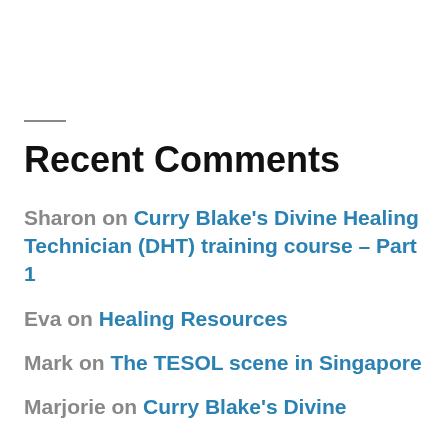Recent Comments
Sharon on Curry Blake's Divine Healing Technician (DHT) training course – Part 1
Eva on Healing Resources
Mark on The TESOL scene in Singapore
Marjorie on Curry Blake's Divine…